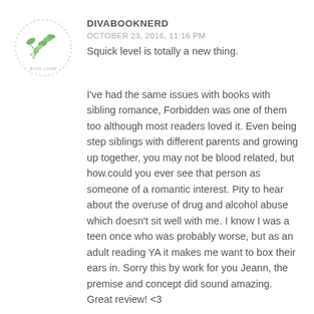[Figure (illustration): Circular avatar/logo with green leaf/branch illustration and dotted circular border, for user divabooknerd]
DIVABOOKNERD
OCTOBER 23, 2016, 11:16 PM
Squick level is totally a new thing.
I've had the same issues with books with sibling romance, Forbidden was one of them too although most readers loved it. Even being step siblings with different parents and growing up together, you may not be blood related, but how.could you ever see that person as someone of a romantic interest. Pity to hear about the overuse of drug and alcohol abuse which doesn't sit well with me. I know I was a teen once who was probably worse, but as an adult reading YA it makes me want to box their ears in. Sorry this by work for you Jeann, the premise and concept did sound amazing. Great review! <3